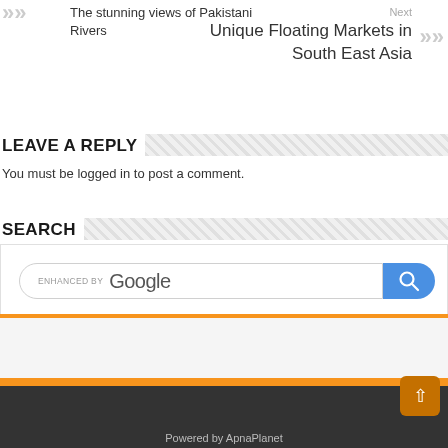The stunning views of Pakistani Rivers
Next
Unique Floating Markets in South East Asia
LEAVE A REPLY
You must be logged in to post a comment.
SEARCH
[Figure (screenshot): Google enhanced search bar with blue search button]
Powered by ApnaPlanet